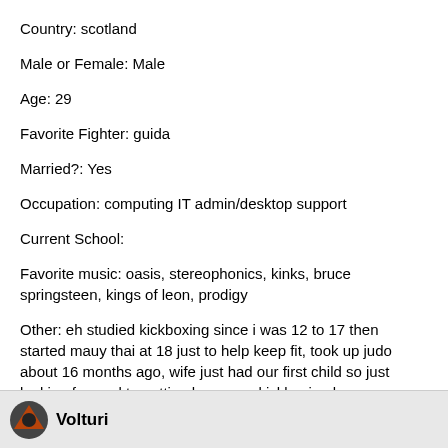Country: scotland
Male or Female: Male
Age: 29
Favorite Fighter: guida
Married?: Yes
Occupation: computing IT admin/desktop support
Current School:
Favorite music: oasis, stereophonics, kinks, bruce springsteen, kings of leon, prodigy
Other: eh studied kickboxing since i was 12 to 17 then started mauy thai at 18 just to help keep fit, took up judo about 16 months ago, wife just had our first child so just looking forward to getting her some kickboxing lessons, an when i aint workin or that i like to play golf or ps3
Volturi